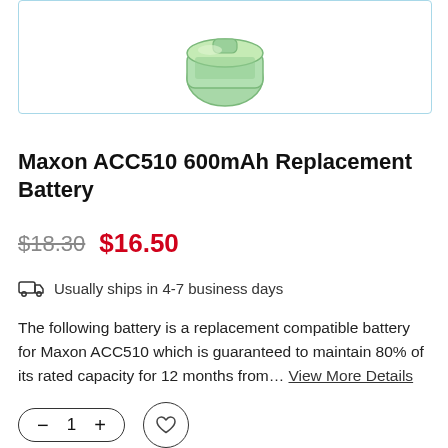[Figure (photo): Green/mint colored replacement battery product image shown partially at top, inside a light blue bordered box.]
Maxon ACC510 600mAh Replacement Battery
$18.30  $16.50
Usually ships in 4-7 business days
The following battery is a replacement compatible battery for Maxon ACC510 which is guaranteed to maintain 80% of its rated capacity for 12 months from… View More Details